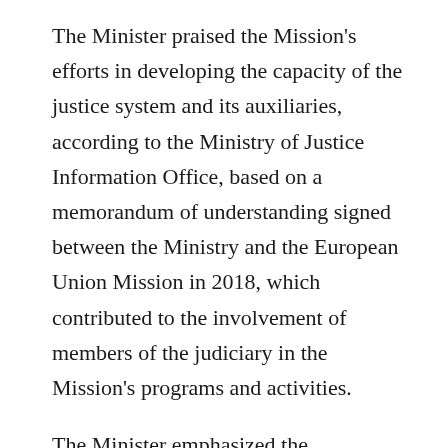The Minister praised the Mission's efforts in developing the capacity of the justice system and its auxiliaries, according to the Ministry of Justice Information Office, based on a memorandum of understanding signed between the Ministry and the European Union Mission in 2018, which contributed to the involvement of members of the judiciary in the Mission's programs and activities.
The Minister emphasized the importance of continuing this collaboration by referring to the Ministry's goals in line with the current phase's requirements, thereby reinforcing and consolidating the principles of the judiciary...